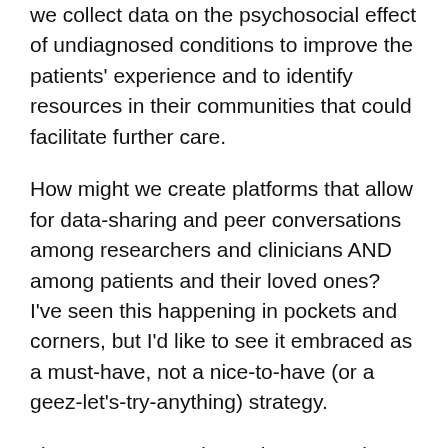we collect data on the psychosocial effect of undiagnosed conditions to improve the patients' experience and to identify resources in their communities that could facilitate further care.
How might we create platforms that allow for data-sharing and peer conversations among researchers and clinicians AND among patients and their loved ones? I've seen this happening in pockets and corners, but I'd like to see it embraced as a must-have, not a nice-to-have (or a geez-let's-try-anything) strategy.
3) Last January, Gina Kolata wrote in The New York Times about three people who were accepted into the Undiagnosed